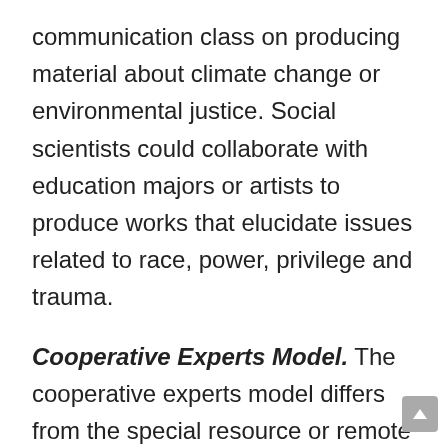communication class on producing material about climate change or environmental justice. Social scientists could collaborate with education majors or artists to produce works that elucidate issues related to race, power, privilege and trauma.
Cooperative Experts Model. The cooperative experts model differs from the special resource or remote experts model in that each the two collaborating classes are conceived as genuinely collaborating, as opposed to operating in a provider- client